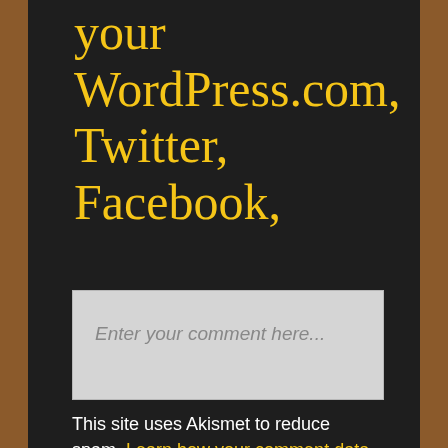your WordPress.com, Twitter, Facebook, or Google+ accounts.
[Figure (screenshot): A comment input box with placeholder text 'Enter your comment here...']
This site uses Akismet to reduce spam. Learn how your comment data is processed.